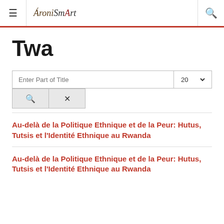AroniSmart
Twa
Enter Part of Title | 20
Au-delà de la Politique Ethnique et de la Peur: Hutus, Tutsis et l'Identité Ethnique au Rwanda
Au-delà de la Politique Ethnique et de la Peur: Hutus, Tutsis et l'Identité Ethnique au Rwanda